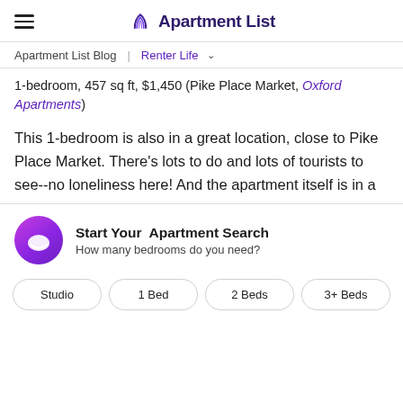Apartment List
Apartment List Blog | Renter Life
1-bedroom, 457 sq ft, $1,450 (Pike Place Market, Oxford Apartments)
This 1-bedroom is also in a great location, close to Pike Place Market. There's lots to do and lots of tourists to see--no loneliness here! And the apartment itself is in a
Start Your Apartment Search
How many bedrooms do you need?
Studio
1 Bed
2 Beds
3+ Beds